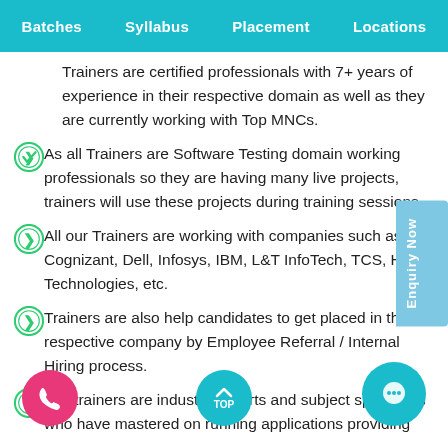Batches  Syllabus  Placement  Locations
Trainers are certified professionals with 7+ years of experience in their respective domain as well as they are currently working with Top MNCs.
As all Trainers are Software Testing domain working professionals so they are having many live projects, trainers will use these projects during training sessions.
All our Trainers are working with companies such as Cognizant, Dell, Infosys, IBM, L&T InfoTech, TCS, HCL Technologies, etc.
Trainers are also help candidates to get placed in their respective company by Employee Referral / Internal Hiring process.
Our trainers are industry experts and subject specialists who have mastered on running applications providing